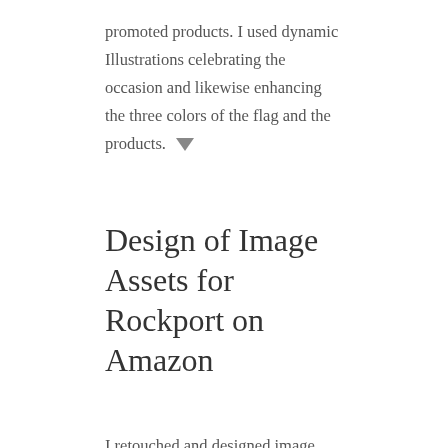promoted products. I used dynamic Illustrations celebrating the occasion and likewise enhancing the three colors of the flag and the products.
Design of Image Assets for Rockport on Amazon
I retouched and designed image assets for “Rockport” shoes, one of Randa Accessories’ clients on Amazon. First, I cleaned up the images and dissected them in mainly 3 parts, in order to make the layers of the shoe visible and added